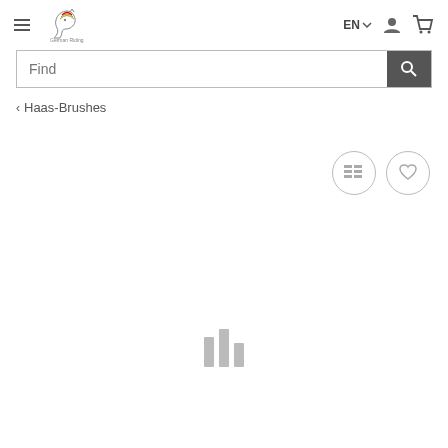[Figure (screenshot): Website navigation bar with hamburger menu icon, German Riding horse logo with rainbow, EN language selector, user icon, and cart icon]
[Figure (screenshot): Search bar with placeholder text 'Find' and a dark search button with magnifying glass icon]
< Haas-Brushes
[Figure (screenshot): Two circular icon buttons: a list/table icon and a heart/wishlist icon]
[Figure (screenshot): Loading indicator with three vertical gray bars of varying heights]